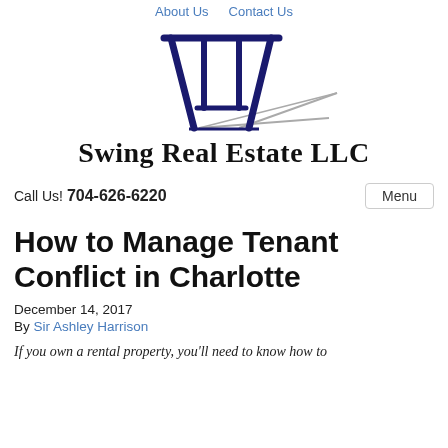About Us   Contact Us
[Figure (logo): Swing Real Estate LLC logo — a swing set graphic in dark navy blue with a gray shadow, above the company name text]
Call Us! 704-626-6220
Menu
How to Manage Tenant Conflict in Charlotte
December 14, 2017
By Sir Ashley Harrison
If you own a rental property, you'll need to know how to